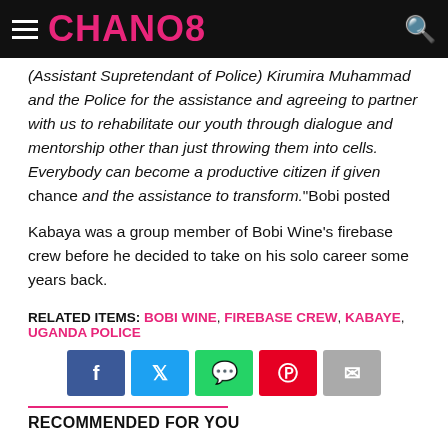CHANO8
(Assistant Supretendant of Police) Kirumira Muhammad and the Police for the assistance and agreeing to partner with us to rehabilitate our youth through dialogue and mentorship other than just throwing them into cells. Everybody can become a productive citizen if given chance and the assistance to transform.”Bobi posted
Kabaya was a group member of Bobi Wine’s firebase crew before he decided to take on his solo career some years back.
RELATED ITEMS: BOBI WINE, FIREBASE CREW, KABAYE, UGANDA POLICE
[Figure (other): Social share buttons: Facebook, Twitter, WhatsApp, Pinterest, Email]
RECOMMENDED FOR YOU